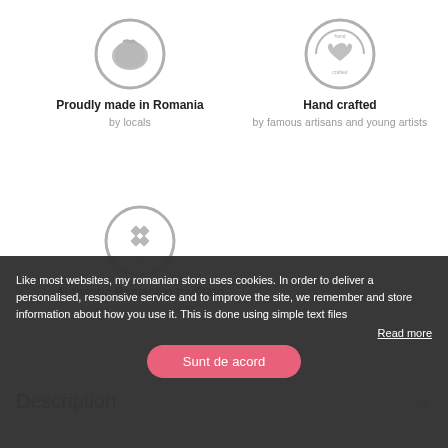[Figure (illustration): Gray circular badge with Romania map outline icon]
Proudly made in Romania
by locals
[Figure (illustration): Gray circular badge with hand crafted heart icon and text]
Hand crafted
by famous artisans and young artists
[Figure (illustration): Gray circular badge with arthentic diamonds logo]
Authentic Romanian tradition
meets modern lifestyle
Description
Like most websites, my romanian store uses cookies. In order to deliver a personalised, responsive service and to improve the site, we remember and store information about how you use it. This is done using simple text files
Read more
Sunt de acord